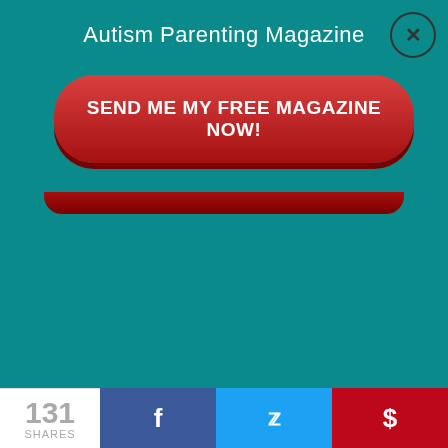Autism Parenting Magazine
[Figure (screenshot): Red pill-shaped button with white bold text: SEND ME MY FREE MAGAZINE NOW!]
gears and eat something else like a bowl of cereal or a sandwich.
[Figure (infographic): Teal background ad banner showing text: Learn how to help your child]
131 SHARES
[Figure (infographic): Social sharing bar with Facebook (f), Twitter (bird), and Pinterest (p) buttons]